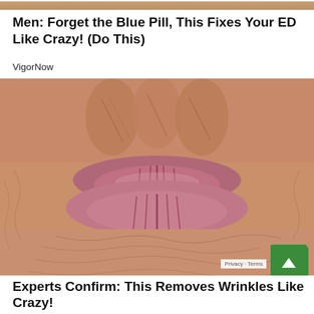[Figure (photo): Partial photo strip at top of page showing warm skin tones]
Men: Forget the Blue Pill, This Fixes Your ED Like Crazy! (Do This)
VigorNow
[Figure (photo): Close-up photo of an elderly person's wrinkled lips and surrounding skin area, with a green scroll-to-top button overlay in the bottom right and a Privacy - Terms badge]
Experts Confirm: This Removes Wrinkles Like Crazy!